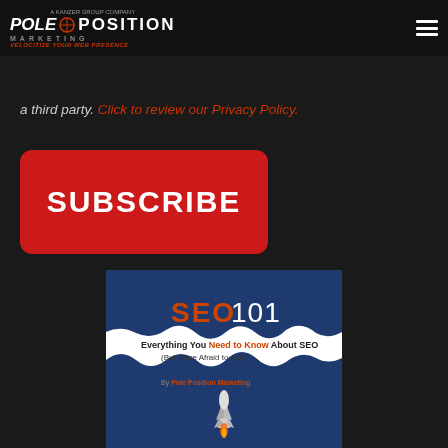Pole Position Marketing - Velocitize Your Web Presence
a third party. Click to review our Privacy Policy.
[Figure (other): Red SUBSCRIBE button with rounded corners on dark background]
[Figure (illustration): Book cover for SEO 101 - Everything You Need to Know About SEO (But Were Afraid to Ask) by Pole Position Marketing, showing a rocket on dark blue background]